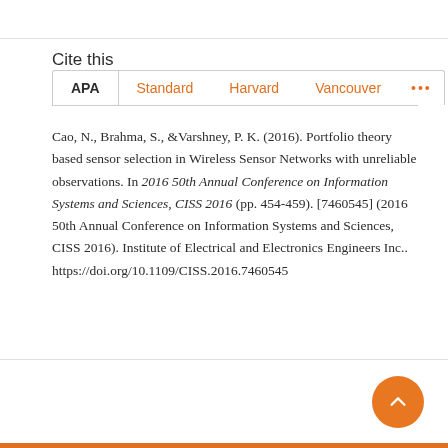Cite this
APA | Standard | Harvard | Vancouver | ...
Cao, N., Brahma, S., & Varshney, P. K. (2016). Portfolio theory based sensor selection in Wireless Sensor Networks with unreliable observations. In 2016 50th Annual Conference on Information Systems and Sciences, CISS 2016 (pp. 454-459). [7460545] (2016 50th Annual Conference on Information Systems and Sciences, CISS 2016). Institute of Electrical and Electronics Engineers Inc.. https://doi.org/10.1109/CISS.2016.7460545